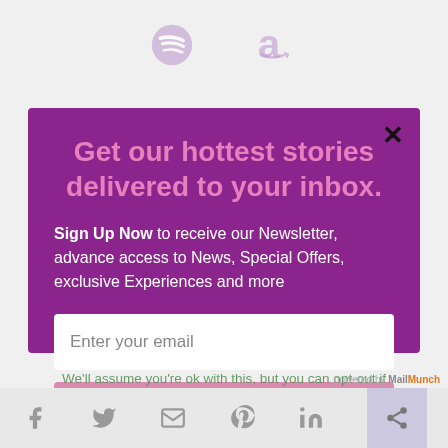[Figure (logo): Spotify and Amazon logos in grey/muted tones in top bar]
Get our hottest stories delivered to your inbox.
Sign Up Now to receive our Newsletter, advance access to News, Special Offers, exclusive Experiences and more
Enter your email
Submit
We'll assume you're ok with this, but you can opt-out if
[Figure (logo): powered by MailMunch badge]
[Figure (infographic): Social share bar with Facebook, Twitter, email, Pinterest, LinkedIn, and share icons]